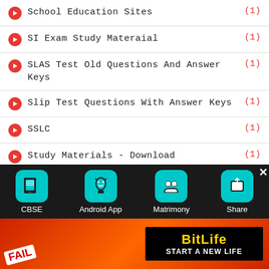School Education Sites (1)
SI Exam Study Materaial (1)
SLAS Test Old Questions And Answer Keys (1)
Slip Test Questions With Answer Keys (1)
SSLC (1)
Study Materials - Download (1)
Studymaterials (22)
Submit Your Study Materials Here (1)
Syllabus (6)
[Figure (screenshot): Bottom toolbar with CBSE, Android App, Matrimony, Share buttons on dark background]
[Figure (infographic): BitLife advertisement banner with FAIL text and START A NEW LIFE tagline]